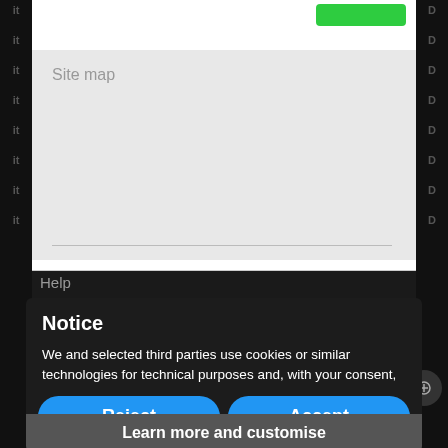Site map
Help
Notice
We and selected third parties use cookies or similar technologies for technical purposes and, with your consent, for other purposes as specified in the cookie policy. Denying consent may make related features unavailable.
You can freely give, deny, or withdraw your consent at any time. Use the “Accept” button to consent to the use of such technologies. Use the “Reject” button to continue without accepting.
Reject
Accept
Learn more and customise